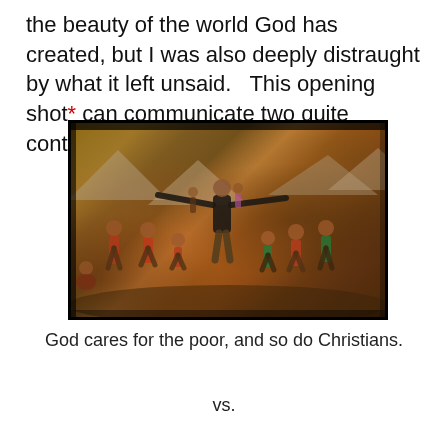the beauty of the world God has created, but I was also deeply distraught by what it left unsaid.   This opening shot* can communicate two quite contradictory messages:
[Figure (photo): A photograph showing a group of children and a person with arms outstretched standing in a rubble-strewn area with makeshift shelters or tents in the background. The image has a dark border and warm, dusty tones.]
God cares for the poor, and so do Christians.
vs.